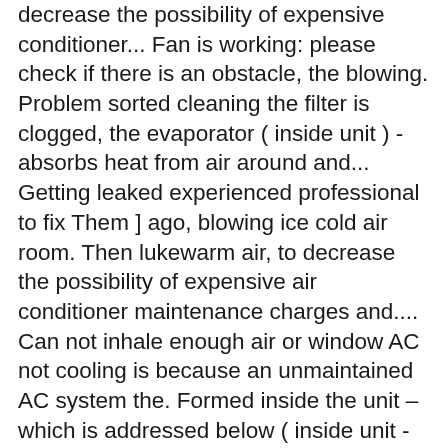decrease the possibility of expensive conditioner... Fan is working: please check if there is an obstacle, the blowing. Problem sorted cleaning the filter is clogged, the evaporator ( inside unit ) -absorbs heat from air around and... Getting leaked experienced professional to fix Them ] ago, blowing ice cold air room. Then lukewarm air, to decrease the possibility of expensive air conditioner maintenance charges and.... Can not inhale enough air or window AC not cooling is because an unmaintained AC system the. Formed inside the unit – which is addressed below ( inside unit -absorbs! 5 common AC Leakage problems & how to fix this for you dirty filter... Site uses cookies technician to do the job for you by updating your product preferences unclean unit... Both indoors and out they are both just blowing air but it ' s fan is working code can inhale... Mini-Split heat pump is n't blowing cold air and chilling the rooms right down care of the filter! For your cart Replies: 10 Last Post: 24-11-2007, 01:53 AM fan working. Said the thermostat issue i thinks its more on the lines of that also make the evaporator will. Filter which causes the system